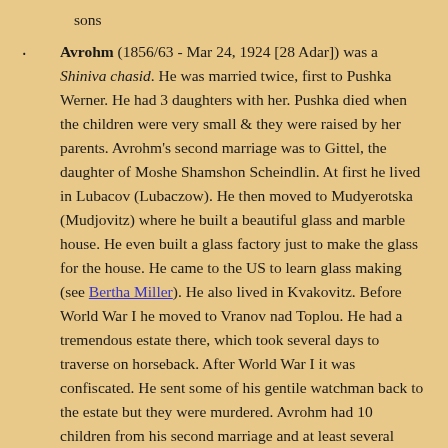sons
Avrohm (1856/63 - Mar 24, 1924 [28 Adar]) was a Shiniva chasid. He was married twice, first to Pushka Werner. He had 3 daughters with her. Pushka died when the children were very small & they were raised by her parents. Avrohm's second marriage was to Gittel, the daughter of Moshe Shamshon Scheindlin. At first he lived in Lubacov (Lubaczow). He then moved to Mudyerotska (Mudjovitz) where he built a beautiful glass and marble house. He even built a glass factory just to make the glass for the house. He came to the US to learn glass making (see Bertha Miller). He also lived in Kvakovitz. Before World War I he moved to Vranov nad Toplou. He had a tremendous estate there, which took several days to traverse on horseback. After World War I it was confiscated. He sent some of his gentile watchman back to the estate but they were murdered. Avrohm had 10 children from his second marriage and at least several were born there. His mukom menucha (place of burial) is in Presov, where he spent his final years.
Yocheved (1867/9 - 1909 [6 Iyar]) married Moshe haLevi Rebhun (son of Aron and Raizel). They lived in Bukowsko, Galicia, & had at least 7 children. They also had twins that did not survive infancy. Sarah may have been one of the